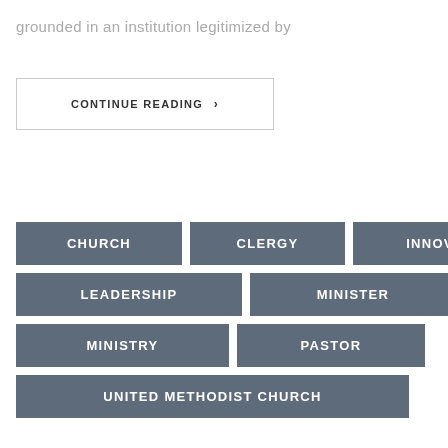grounded in an institution legitimized by
CONTINUE READING ›
CHURCH
CLERGY
INNOVATION
LEADERSHIP
MINISTER
MINISTRY
PASTOR
UNITED METHODIST CHURCH